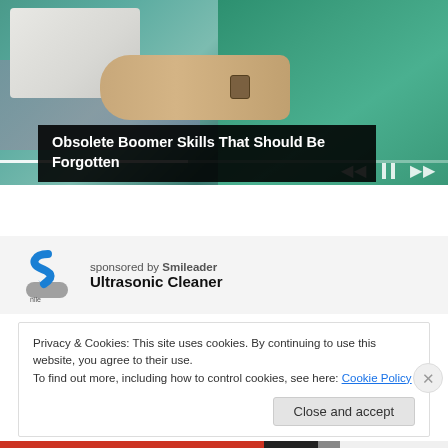[Figure (screenshot): Video player showing a person in a green t-shirt working at a sewing machine with fabric. Video controls (previous, pause, next) visible at bottom right. Progress bar near bottom.]
Obsolete Boomer Skills That Should Be Forgotten
[Figure (logo): Smileader brand logo: stylized blue S-shaped arrow on a gray rounded base]
sponsored by Smileader
Ultrasonic Cleaner
Privacy & Cookies: This site uses cookies. By continuing to use this website, you agree to their use.
To find out more, including how to control cookies, see here: Cookie Policy
Close and accept